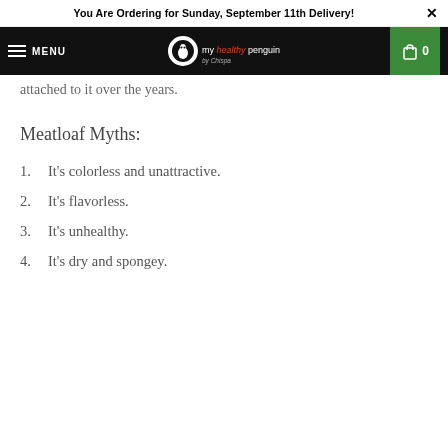You Are Ordering for Sunday, September 11th Delivery!
attached to it over the years.
Meatloaf Myths:
1. It's colorless and unattractive.
2. It's flavorless.
3. It's unhealthy.
4. It's dry and spongey.